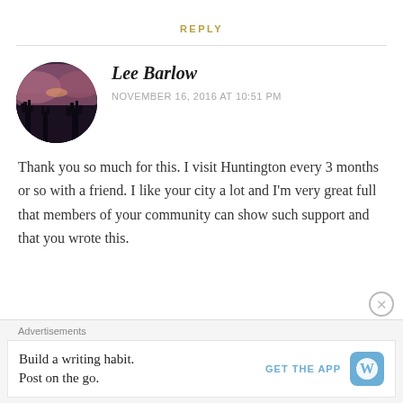REPLY
[Figure (photo): Circular avatar photo showing a twilight/sunset scene with silhouetted trees against a purple-pink sky, belonging to user Lee Barlow]
Lee Barlow
NOVEMBER 16, 2016 AT 10:51 PM
Thank you so much for this. I visit Huntington every 3 months or so with a friend. I like your city a lot and I'm very great full that members of your community can show such support and that you wrote this.
Advertisements
Build a writing habit. Post on the go.
GET THE APP